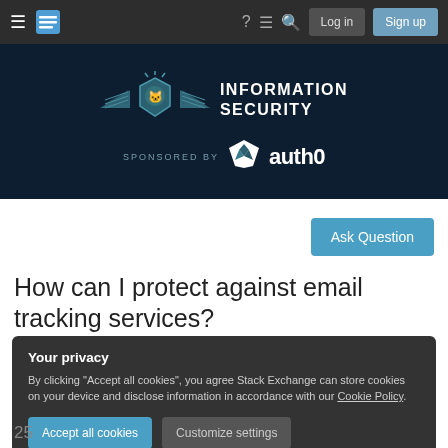Navigation bar with hamburger menu, Stack Exchange logo, icons (help, chat, search), Log in and Sign up buttons
[Figure (logo): Information Security Stack Exchange banner with lion shield logo and 'INFORMATION SECURITY' text, sponsored by auth0]
Ask Question
How can I protect against email tracking services?
Your privacy
By clicking "Accept all cookies", you agree Stack Exchange can store cookies on your device and disclose information in accordance with our Cookie Policy.
Accept all cookies   Customize settings
25